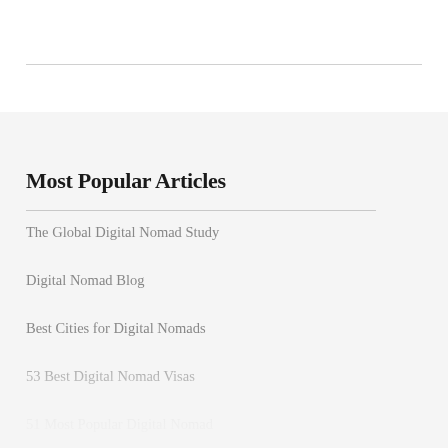Most Popular Articles
The Global Digital Nomad Study
Digital Nomad Blog
Best Cities for Digital Nomads
53 Best Digital Nomad Visas
51 Most Popular Digital Nomad...